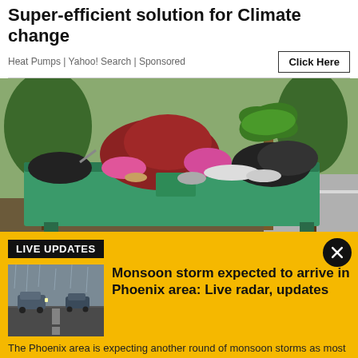Super-efficient solution for Climate change
Heat Pumps | Yahoo! Search | Sponsored
[Figure (photo): Overflowing green dumpster filled with household trash and debris, parked on a street near palm trees]
LIVE UPDATES
[Figure (photo): Cars driving on a wet road during a monsoon rainstorm]
Monsoon storm expected to arrive in Phoenix area: Live radar, updates
The Phoenix area is expecting another round of monsoon storms as most of the state is under a flood watch through Saturday night. We have the latest on this round of wet weather.